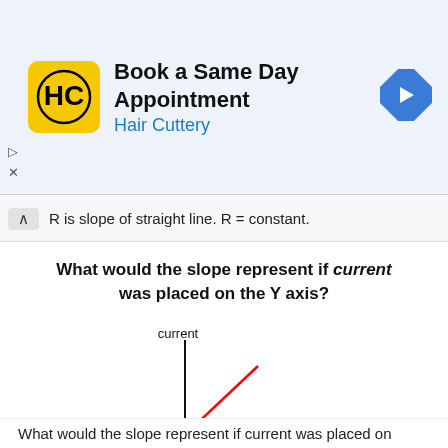[Figure (screenshot): Hair Cuttery advertisement banner: 'Book a Same Day Appointment' with HC logo and navigation arrow icon]
R is slope of straight line. R = constant.
What would the slope represent if current was placed on the Y axis?
[Figure (engineering-diagram): A current vs voltage graph (x-y axes with current on Y axis and voltage on X axis) with a red diagonal line through the origin representing slope 1/R. Label '1/R' shown to the right.]
What would the slope represent if current was placed on